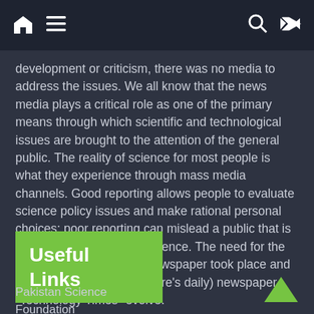Navigation bar with home, menu, search, and shuffle icons
development or criticism, there was no media to address the issues. We all know that the news media plays a critical role as one of the primary means through which scientific and technological issues are brought to the attention of the general public. The reality of science for most people is what they experience through mass media channels. Good reporting allows people to evaluate science policy issues and make rational personal choices; poor reporting can mislead a public that is increasingly affected by science. The need for the science and technology newspaper took place and the concept of weekly (future’s daily) newspaper “Technology Times” evolve.
Useful Links
Pakistan Science Foundation